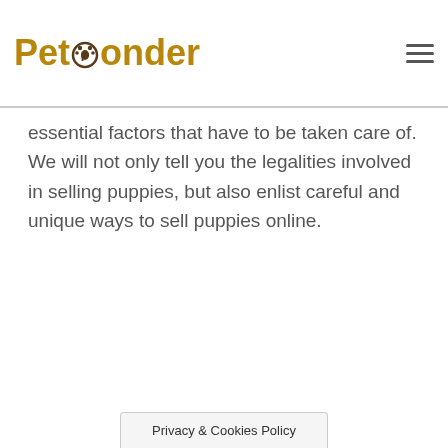PetPonder
essential factors that have to be taken care of. We will not only tell you the legalities involved in selling puppies, but also enlist careful and unique ways to sell puppies online.
Privacy & Cookies Policy